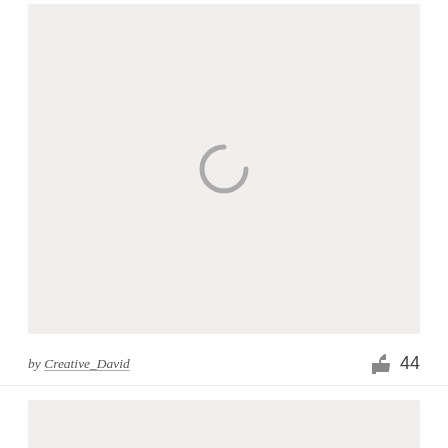[Figure (other): Loading placeholder card with a spinner icon in the center on a light gray background]
by Creative_David   👍 44
[Figure (other): Second loading placeholder card, partially visible at bottom of page]